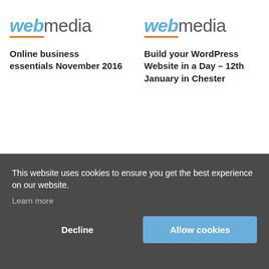[Figure (logo): webmedia logo — 'web' in italic blue with orange underline, 'media' in grey]
Online business essentials November 2016
[Figure (logo): webmedia logo — 'web' in italic blue with orange underline, 'media' in grey]
Build your WordPress Website in a Day – 12th January in Chester
This website uses cookies to ensure you get the best experience on our website.
Learn more
Decline
Allow cookies